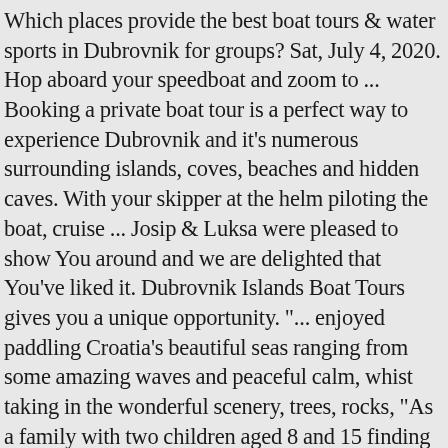Which places provide the best boat tours & water sports in Dubrovnik for groups? Sat, July 4, 2020. Hop aboard your speedboat and zoom to ... Booking a private boat tour is a perfect way to experience Dubrovnik and it's numerous surrounding islands, coves, beaches and hidden caves. With your skipper at the helm piloting the boat, cruise ... Josip & Luksa were pleased to show You around and we are delighted that You've liked it. Dubrovnik Islands Boat Tours gives you a unique opportunity. "... enjoyed paddling Croatia's beautiful seas ranging from some amazing waves and peaceful calm, whist taking in the wonderful scenery, trees, rocks, "As a family with two children aged 8 and 15 finding activities for both children to enjoy is sometimes tough - the kayaking suited them both perfectly :) Our, "Awesome trip with family excellent service ..excellent, "... passionate and informative of his city and all the wildlife and scenery on the trip.We went to